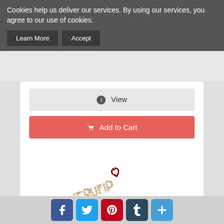Cookies help us deliver our services. By using our services, you agree to our use of cookies.
Learn More | Accept
View
Add to Cart
[Figure (photo): A bejeweled brooch spelling out I LOVE TRUMP with rhinestones and a red heart, gold-toned metal letters on a diagonal angle]
I Love President Trump Red Love TRUMP Cr...
only $14.95
Social share buttons: Facebook, Twitter, Pinterest, Tumblr, More